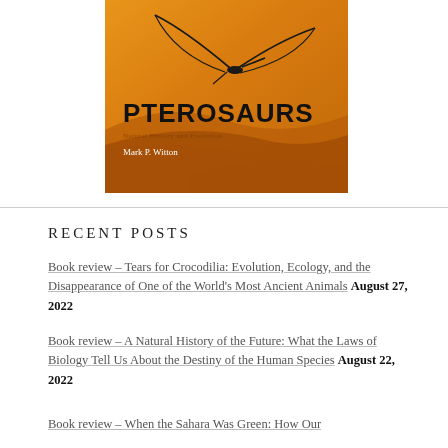[Figure (illustration): Book cover for 'Pterosaurs' by Mark P. Witton. Orange/amber background with a silhouette of a pterosaur in flight. Title 'PTEROSAURS' in large black sans-serif letters, author name 'Mark P. Witton' in white below.]
RECENT POSTS
Book review – Tears for Crocodilia: Evolution, Ecology, and the Disappearance of One of the World's Most Ancient Animals August 27, 2022
Book review – A Natural History of the Future: What the Laws of Biology Tell Us About the Destiny of the Human Species August 22, 2022
Book review – When the Sahara Was Green: How Our